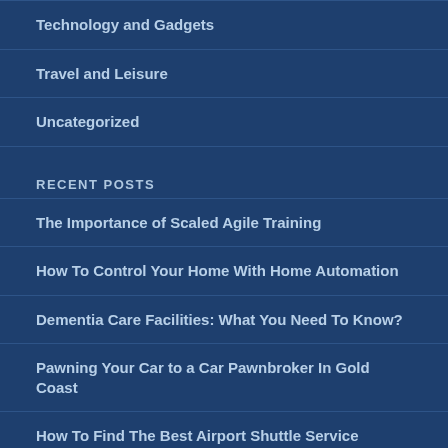Technology and Gadgets
Travel and Leisure
Uncategorized
RECENT POSTS
The Importance of Scaled Agile Training
How To Control Your Home With Home Automation
Dementia Care Facilities: What You Need To Know?
Pawning Your Car to a Car Pawnbroker In Gold Coast
How To Find The Best Airport Shuttle Service